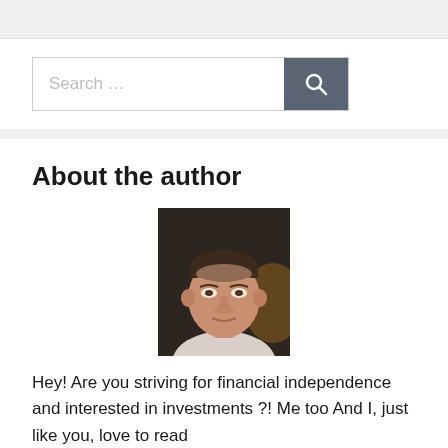[Figure (other): Top navigation bar, light gray background]
[Figure (other): Search bar with text 'Search ...' and a gray search button with magnifying glass icon]
About the author
[Figure (photo): Headshot photo of a middle-aged man with short hair, wearing a light-colored shirt, dark background]
Hey! Are you striving for financial independence and interested in investments ?! Me too And I, just like you, love to read